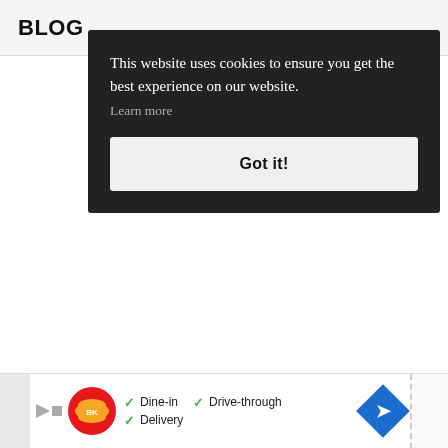BLOG
This website uses cookies to ensure you get the best experience on our website.
Learn more
Got it!
[Figure (screenshot): Cookie consent modal overlay on a blog website with dark background, cookie notice text, Learn more link, and Got it! button]
[Figure (other): Burger King advertisement banner showing Dine-in, Drive-through, and Delivery options with checkmarks, navigation arrow diamond icon]